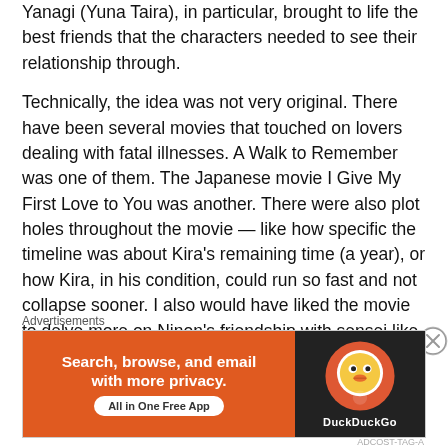Yanagi (Yuna Taira), in particular, brought to life the best friends that the characters needed to see their relationship through.
Technically, the idea was not very original. There have been several movies that touched on lovers dealing with fatal illnesses. A Walk to Remember was one of them. The Japanese movie I Give My First Love to You was another. There were also plot holes throughout the movie — like how specific the timeline was about Kira's remaining time (a year), or how Kira, in his condition, could run so fast and not collapse sooner. I also would have liked the movie to delve more on Ninon's friendship with sensei like in the manga.
But all in all, Today's Kira-kun, in my opinion is one of
Advertisements
[Figure (other): DuckDuckGo advertisement banner: orange background on left with text 'Search, browse, and email with more privacy. All in One Free App', dark background on right with DuckDuckGo logo and brand name.]